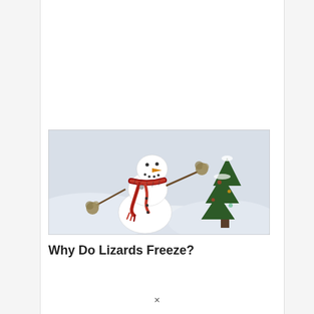[Figure (photo): A snowman wearing a red and black plaid scarf, with a carrot nose and button eyes, holding dried flower stems as arms. A small Christmas tree stands to the right of the snowman. The scene is set in a snowy outdoor environment.]
Why Do Lizards Freeze?
×